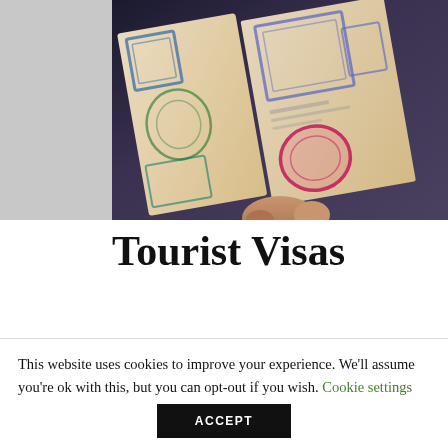[Figure (photo): A hand holding an open passport showing multiple visa stamps in blue, green, teal, and pink on worn beige pages, with a dark blurred background.]
Tourist Visas
Long before you plan to go on your trip you should
This website uses cookies to improve your experience. We'll assume you're ok with this, but you can opt-out if you wish. Cookie settings ACCEPT